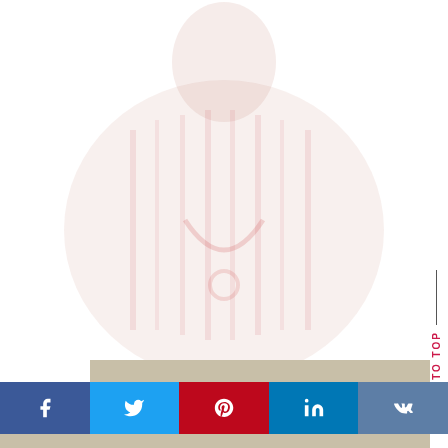[Figure (photo): Faded/washed-out background photo of a man wearing a patterned red and white traditional garment with a stethoscope, smiling, with a stock photo watermark visible at lower right.]
BACK TO TOP
[Figure (infographic): Social media share buttons bar with Facebook (blue), Twitter (light blue), Pinterest (red), LinkedIn (blue), and VK (steel blue) icons arranged horizontally.]